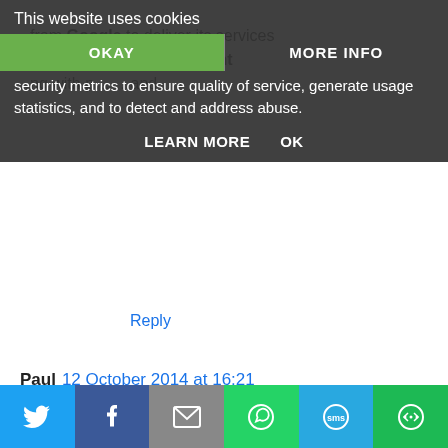[Figure (screenshot): Cookie consent overlay banner showing 'This website uses cookies' with OKAY and MORE INFO buttons, followed by text about Google services, IP address, user-agent, security metrics, usage statistics, LEARN MORE and OK links.]
Reply
Paul  12 October 2014 at 16:21
Chocolate
Reply
moonray69  12 October 2014 at 16:45
Oohhh..would deffo like to try Gingerbread :-) (Laura Jeffs)
[Figure (screenshot): Social sharing bar at the bottom with Twitter (blue), Facebook (dark blue), Email (grey), WhatsApp (green), SMS (light blue), and More (green) buttons with icons.]